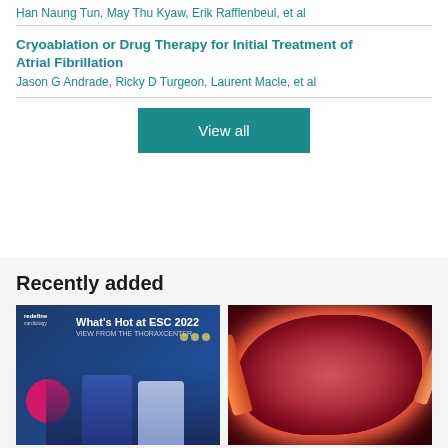Cryoablation or Drug Therapy for Initial Treatment of Atrial Fibrillation
Han Naung Tun, May Thu Kyaw, Erik Rafflenbeul, et al
Cryoablation or Drug Therapy for Initial Treatment of Atrial Fibrillation
Jason G Andrade, Ricky D Turgeon, Laurent Macle, et al
View all
Recently added
[Figure (screenshot): Video thumbnail showing two men in a studio with text 'What's Hot at ESC 2022 VIEW FROM THE THORAXCENTER' and a pink circle, blue background]
[Figure (photo): Close-up medical image of a heart or kidney organ with glowing red/orange tones and visible blood vessels]